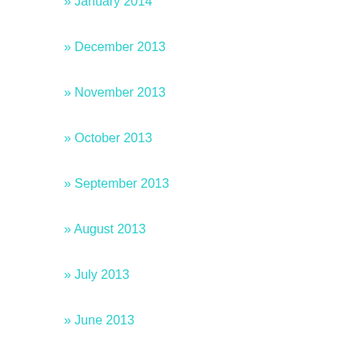» January 2014
» December 2013
» November 2013
» October 2013
» September 2013
» August 2013
» July 2013
» June 2013
» May 2013
» April 2013
» March 2013
» February 2013
» January 2013
» December 2012
» November 2012
» October 2012